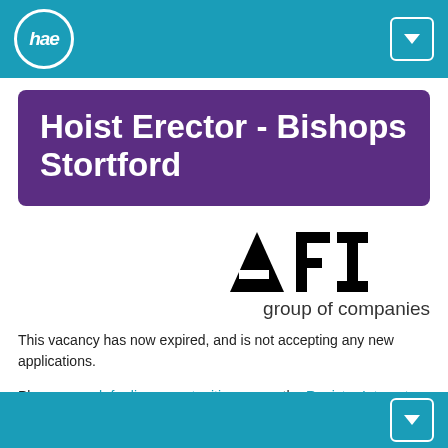hae
Hoist Erector - Bishops Stortford
[Figure (logo): AFI group of companies logo — large bold black letters AFI with 'group of companies' below in regular weight]
This vacancy has now expired, and is not accepting any new applications.
Please search for live opportunities or use the Register Interest facility to sign up for job alerts and/or leave your CV speculatively.
Vacancy Title
Hoist Erector - Bishops Stortford